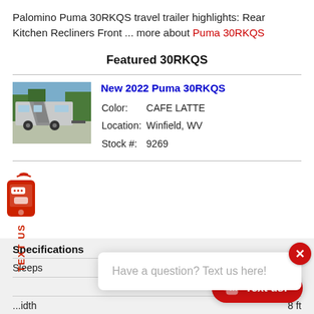Palomino Puma 30RKQS travel trailer highlights: Rear Kitchen Recliners Front ... more about Puma 30RKQS
Featured 30RKQS
[Figure (photo): Photo of a Palomino Puma 30RKQS travel trailer in a parking area with trees in background]
New 2022 Puma 30RKQS
Color: CAFE LATTE
Location: Winfield, WV
Stock #: 9269
Specifications
|  |  |
| --- | --- |
| Sleeps | 2 |
|  | 36 |
| ...idth | 8 ft |
Have a question? Text us here!